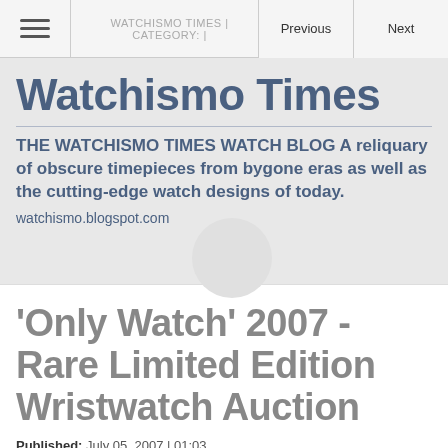WATCHISMO TIMES | CATEGORY: | Previous | Next
Watchismo Times
THE WATCHISMO TIMES WATCH BLOG A reliquary of obscure timepieces from bygone eras as well as the cutting-edge watch designs of today.
watchismo.blogspot.com
'Only Watch' 2007 - Rare Limited Edition Wristwatch Auction
Published:  July 05, 2007 | 01:03